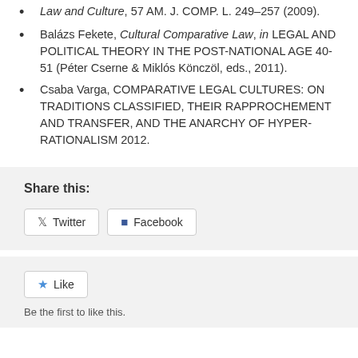Law and Culture, 57 AM. J. COMP. L. 249–257 (2009).
Balázs Fekete, Cultural Comparative Law, in LEGAL AND POLITICAL THEORY IN THE POST-NATIONAL AGE 40-51 (Péter Cserne & Miklós Könczöl, eds., 2011).
Csaba Varga, COMPARATIVE LEGAL CULTURES: ON TRADITIONS CLASSIFIED, THEIR RAPPROCHEMENT AND TRANSFER, AND THE ANARCHY OF HYPER-RATIONALISM 2012.
Share this:
Twitter  Facebook
Like
Be the first to like this.